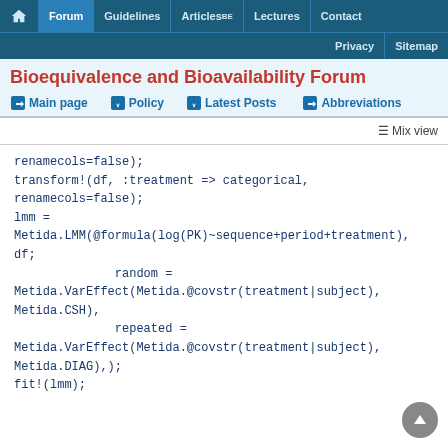Forum | Guidelines | Articles BE | Lectures | Contact | Privacy | Sitemap
Bioequivalence and Bioavailability Forum
Main page | Policy | Latest Posts | Abbreviations
Mix view
renamecols=false);
transform!(df, :treatment => categorical,
renamecols=false);
lmm =
Metida.LMM(@formula(log(PK)~sequence+period+treatment),
df;
              random =
Metida.VarEffect(Metida.@covstr(treatment|subject),
Metida.CSH),
              repeated =
Metida.VarEffect(Metida.@covstr(treatment|subject),
Metida.DIAG),);
fit!(lmm);